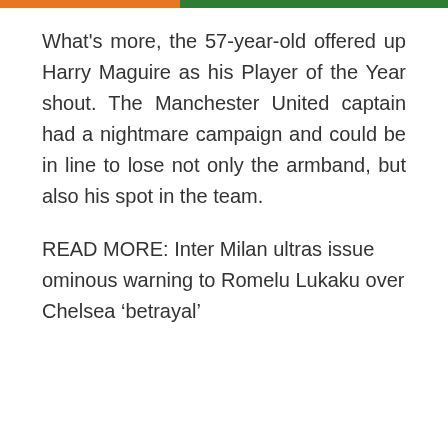[Figure (other): Partial top strip showing thumbnail images with orange and green color bands]
What's more, the 57-year-old offered up Harry Maguire as his Player of the Year shout. The Manchester United captain had a nightmare campaign and could be in line to lose not only the armband, but also his spot in the team.
READ MORE: Inter Milan ultras issue ominous warning to Romelu Lukaku over Chelsea ‘betrayal’